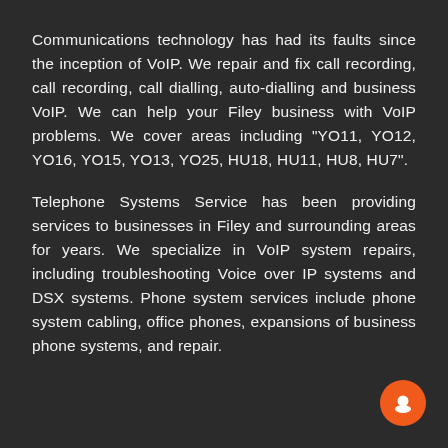Communications technology has had its faults since the inception of VoIP. We repair and fix call recording, call recording, call dialling, auto-dialling and business VoIP. We can help your Filey business with VoIP problems. We cover areas including "YO11, YO12, YO16, YO15, YO13, YO25, HU18, HU11, HU8, HU7".
Telephone Systems Service has been providing services to businesses in Filey and surrounding areas for years. We specialize in VoIP system repairs, including troubleshooting Voice over IP systems and DSX systems. Phone system services include phone system cabling, office phones, expansions of business phone systems, and repair.